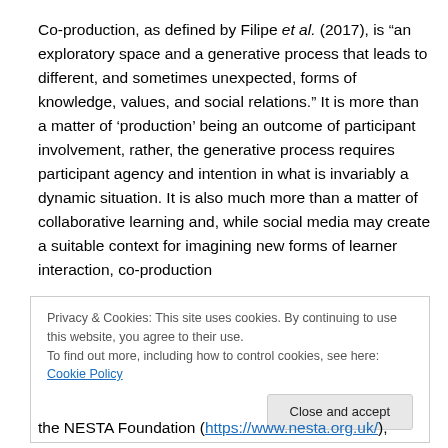Co-production, as defined by Filipe et al. (2017), is "an exploratory space and a generative process that leads to different, and sometimes unexpected, forms of knowledge, values, and social relations." It is more than a matter of 'production' being an outcome of participant involvement, rather, the generative process requires participant agency and intention in what is invariably a dynamic situation. It is also much more than a matter of collaborative learning and, while social media may create a suitable context for imagining new forms of learner interaction, co-production
Privacy & Cookies: This site uses cookies. By continuing to use this website, you agree to their use. To find out more, including how to control cookies, see here: Cookie Policy
the NESTA Foundation (https://www.nesta.org.uk/),